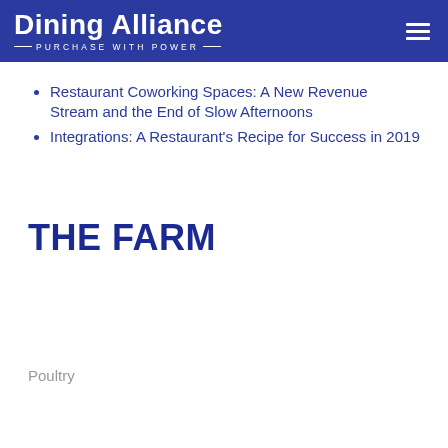Dining Alliance — PURCHASE WITH POWER
Restaurant Coworking Spaces: A New Revenue Stream and the End of Slow Afternoons
Integrations: A Restaurant's Recipe for Success in 2019
THE FARM
Poultry